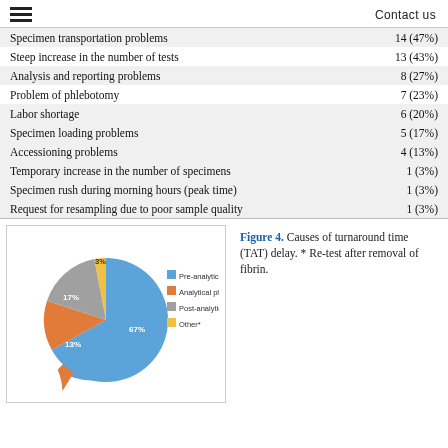Contact us
|  |  |
| --- | --- |
| Specimen transportation problems | 14 (47%) |
| Steep increase in the number of tests | 13 (43%) |
| Analysis and reporting problems | 8 (27%) |
| Problem of phlebotomy | 7 (23%) |
| Labor shortage | 6 (20%) |
| Specimen loading problems | 5 (17%) |
| Accessioning problems | 4 (13%) |
| Temporary increase in the number of specimens | 1 (3%) |
| Specimen rush during morning hours (peak time) | 1 (3%) |
| Request for resampling due to poor sample quality | 1 (3%) |
[Figure (pie-chart): Causes of turnaround time (TAT) delay]
Figure 4. Causes of turnaround time (TAT) delay. * Re-test after removal of fibrin.